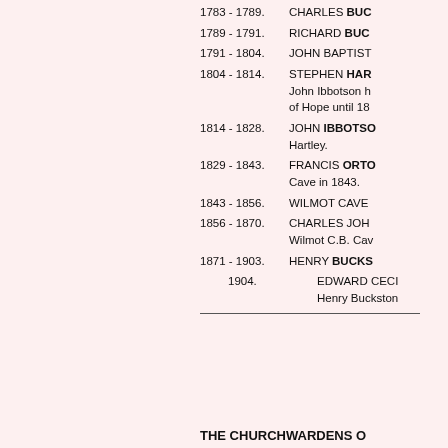1783 - 1789. CHARLES BUC
1789 - 1791. RICHARD BUC
1791 - 1804. JOHN BAPTIST
1804 - 1814. STEPHEN HAR John Ibbotson h of Hope until 18
1814 - 1828. JOHN IBBOTSO Hartley.
1829 - 1843. FRANCIS ORTO Cave in 1843.
1843 - 1856. WILMOT CAVE
1856 - 1870. CHARLES JOH Wilmot C.B. Cav
1871 - 1903. HENRY BUCKS
1904. EDWARD CECI Henry Buckston
THE CHURCHWARDENS O